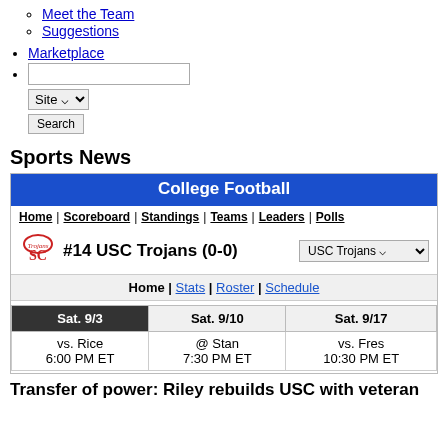Suggestions
Marketplace
[search box with Site dropdown and Search button]
Sports News
| Sat. 9/3 | Sat. 9/10 | Sat. 9/17 |
| --- | --- | --- |
| vs. Rice
6:00 PM ET | @ Stan
7:30 PM ET | vs. Fres
10:30 PM ET |
Transfer of power: Riley rebuilds USC with veteran